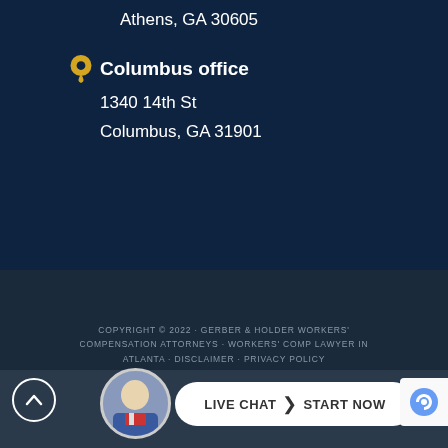Athens, GA 30605
Columbus office
1340 14th St
Columbus, GA 31901
COPYRIGHT © 2022 · GERBER & HOLDER WORKERS' COMPENSATION ATTORNEYS · WORKERS' COMP LAWYER IN ATLANTA · DISCLAIMER · PRIVACY POLICY LAWYER MARKETING & WEB DESIGN BY SEO ADVANTAGE, INC. · PART OF THE ENJURIS ATTORNEY NETWORK
LIVE CHAT  START NOW